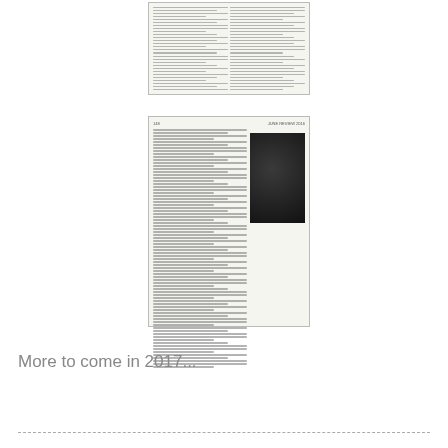[Figure (photo): Photograph/scan of a printed document page with two columns of text, shown at an angle on a white background]
[Figure (photo): Photograph/scan of a printed document page with header text '148' and 'JUNE REVIEW 2016', two columns of small text on the left side, and a black-and-white photograph of a person wearing a gas mask on the right side]
More to come in 2017...